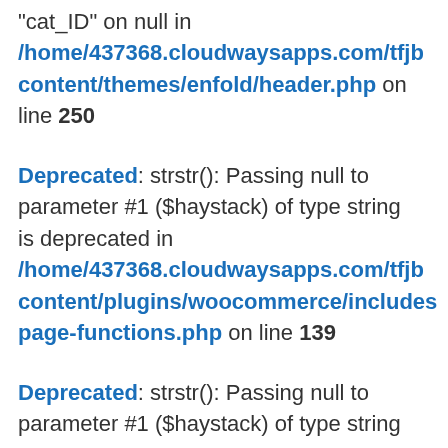"cat_ID" on null in /home/437368.cloudwaysapps.com/tfjb content/themes/enfold/header.php on line 250
Deprecated: strstr(): Passing null to parameter #1 ($haystack) of type string is deprecated in /home/437368.cloudwaysapps.com/tfjb content/plugins/woocommerce/includes page-functions.php on line 139
Deprecated: strstr(): Passing null to parameter #1 ($haystack) of type string